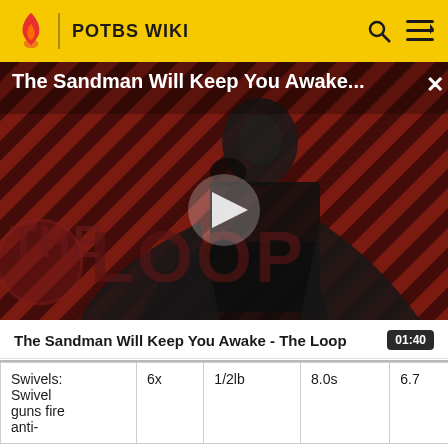POTBS WIKI
[Figure (screenshot): Video thumbnail for 'The Sandman Will Keep You Awake - The Loop' showing a dark figure dressed in black with a raven, against a red and black diagonal striped background, with 'THE LOOP' watermark overlay and a play button in the center.]
The Sandman Will Keep You Awake - The Loop  01:40
| Swivels: Swivel guns fire anti- | 6x | 1/2lb | 8.0s | 6.7 | 100 |